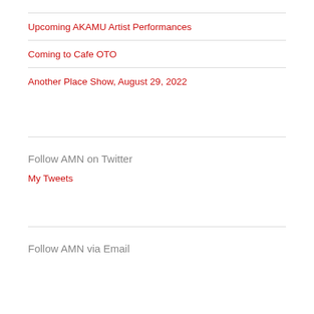Upcoming AKAMU Artist Performances
Coming to Cafe OTO
Another Place Show, August 29, 2022
Follow AMN on Twitter
My Tweets
Follow AMN via Email